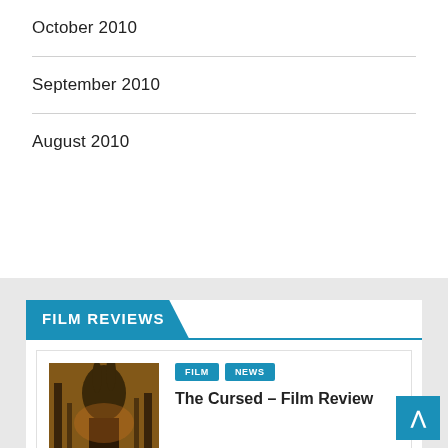October 2010
September 2010
August 2010
FILM REVIEWS
FILM  NEWS
The Cursed – Film Review
FILM  NEWS
Blacklight – Film Review!